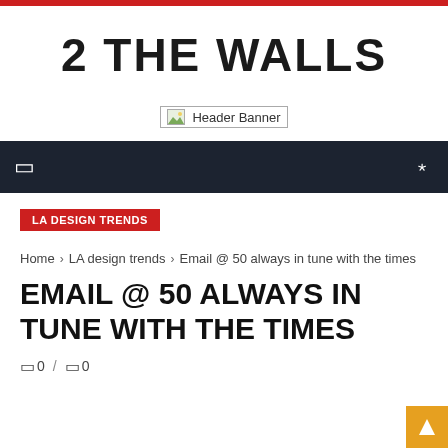2 THE WALLS
[Figure (other): Header Banner placeholder image]
navigation bar with menu icon and search icon
LA DESIGN TRENDS
Home › LA design trends › Email @ 50 always in tune with the times
EMAIL @ 50 ALWAYS IN TUNE WITH THE TIMES
0 / 0